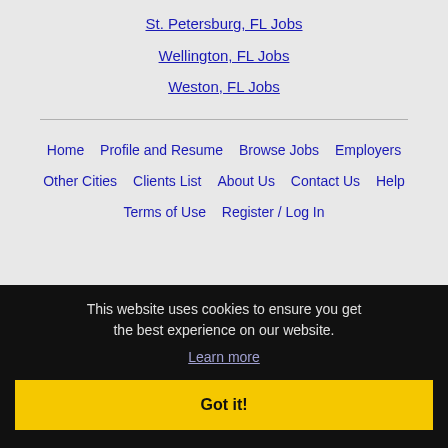St. Petersburg, FL Jobs
Wellington, FL Jobs
Weston, FL Jobs
Home | Profile and Resume | Browse Jobs | Employers | Other Cities | Clients List | About Us | Contact Us | Help | Terms of Use | Register / Log In
This website uses cookies to ensure you get the best experience on our website. Learn more
Got it!